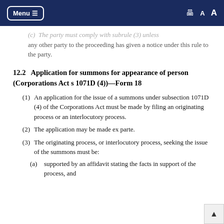Menu  [print] A A
(c) The party must comply with subrule (3) unless any other party to the proceeding has given a notice under this rule to the party.
12.2  Application for summons for appearance of person (Corporations Act s 1071D (4))—Form 18
(1)  An application for the issue of a summons under subsection 1071D (4) of the Corporations Act must be made by filing an originating process or an interlocutory process.
(2)  The application may be made ex parte.
(3)  The originating process, or interlocutory process, seeking the issue of the summons must be:
(a)  supported by an affidavit stating the facts in support of the process, and